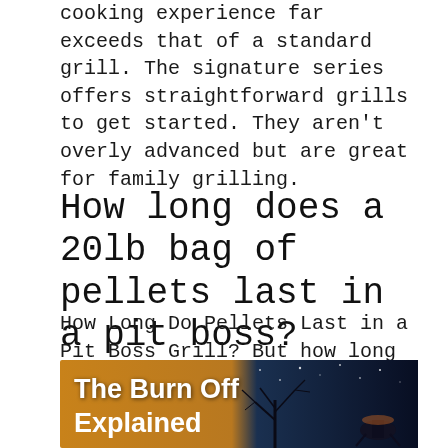cooking experience far exceeds that of a standard grill. The signature series offers straightforward grills to get started. They aren't overly advanced but are great for family grilling.
How long does a 20lb bag of pellets last in a pit boss?
How Long Do Pellets Last in a Pit Boss Grill? But how long do pellets last in a Pit Boss Grill? Well, this will depend on the temperature, weather, and type of pellets you use. But generally, a 40lb bag of pellets can last you over 24 hours.
[Figure (photo): Banner image with orange background on left with bold white text reading 'The Burn Off Explained' and a dark blue/night sky with tree branches on the right side]